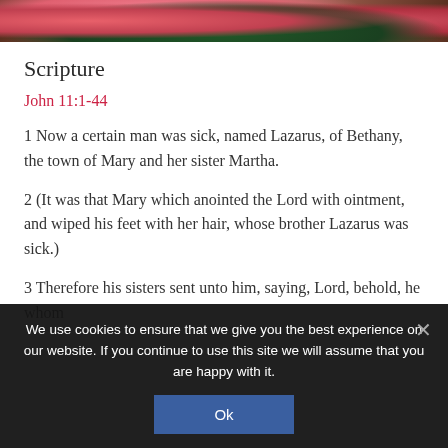[Figure (photo): Cropped top of a photo showing pink flowers and green foliage outdoors]
Scripture
John 11:1-44
1 Now a certain man was sick, named Lazarus, of Bethany, the town of Mary and her sister Martha.
2 (It was that Mary which anointed the Lord with ointment, and wiped his feet with her hair, whose brother Lazarus was sick.)
3 Therefore his sisters sent unto him, saying, Lord, behold, he whom
We use cookies to ensure that we give you the best experience on our website. If you continue to use this site we will assume that you are happy with it.